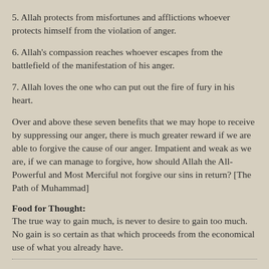5. Allah protects from misfortunes and afflictions whoever protects himself from the violation of anger.
6. Allah's compassion reaches whoever escapes from the battlefield of the manifestation of his anger.
7. Allah loves the one who can put out the fire of fury in his heart.
Over and above these seven benefits that we may hope to receive by suppressing our anger, there is much greater reward if we are able to forgive the cause of our anger. Impatient and weak as we are, if we can manage to forgive, how should Allah the All-Powerful and Most Merciful not forgive our sins in return? [The Path of Muhammad]
Food for Thought:
The true way to gain much, is never to desire to gain too much. No gain is so certain as that which proceeds from the economical use of what you already have.